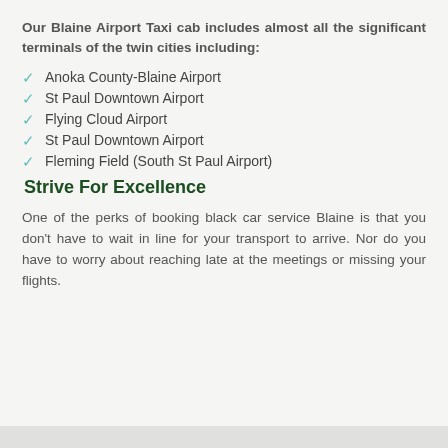Our Blaine Airport Taxi cab includes almost all the significant terminals of the twin cities including:
Anoka County-Blaine Airport
St Paul Downtown Airport
Flying Cloud Airport
St Paul Downtown Airport
Fleming Field (South St Paul Airport)
Strive For Excellence
One of the perks of booking black car service Blaine is that you don't have to wait in line for your transport to arrive. Nor do you have to worry about reaching late at the meetings or missing your flights.